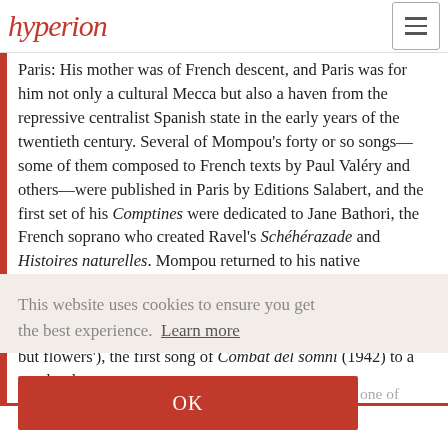hyperion
Paris: His mother was of French descent, and Paris was for him not only a cultural Mecca but also a haven from the repressive centralist Spanish state in the early years of the twentieth century. Several of Mompou's forty or so songs—some of them composed to French texts by Paul Valéry and others—were published in Paris by Editions Salabert, and the first set of his Comptines were dedicated to Jane Bathori, the French soprano who created Ravel's Schéhérazade and Histoires naturelles. Mompou returned to his native Barcelona with the fall of France, and died there in 1987. Many of his songs are to Catalan texts, the most beautiful of which is Damunt de tu només les flors ('Above you naught but flowers'), the first song of Combat del somni (1942) to a text by the
This website uses cookies to ensure you get the best experience. Learn more
OK